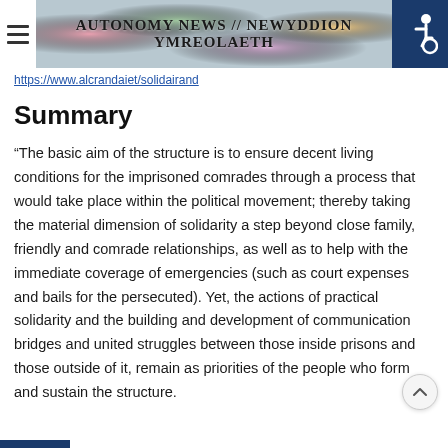Autonomy News // Newyddion Ymreolaeth
https://www.alcrandaiet/solidairand
Summary
“The basic aim of the structure is to ensure decent living conditions for the imprisoned comrades through a process that would take place within the political movement; thereby taking the material dimension of solidarity a step beyond close family, friendly and comrade relationships, as well as to help with the immediate coverage of emergencies (such as court expenses and bails for the persecuted). Yet, the actions of practical solidarity and the building and development of communication bridges and united struggles between those inside prisons and those outside of it, remain as priorities of the people who form and sustain the structure.